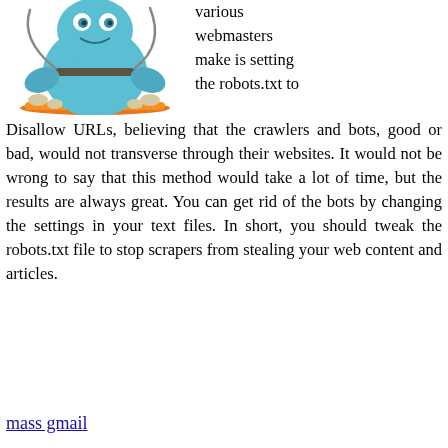[Figure (illustration): A blue cartoon monster/creature figurine (toy) with claws and chains, standing on an orange base, resembling a Skylanders game character.]
various webmasters make is setting the robots.txt to Disallow URLs, believing that the crawlers and bots, good or bad, would not transverse through their websites. It would not be wrong to say that this method would take a lot of time, but the results are always great. You can get rid of the bots by changing the settings in your text files. In short, you should tweak the robots.txt file to stop scrapers from stealing your web content and articles.
mass gmail